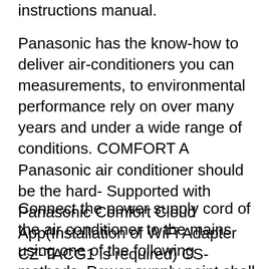instructions manual.
Panasonic has the know-how to deliver air-conditioners you can measurements, to environmental performance rely on over many years and under a wide range of conditions. COMFORT A Panasonic air conditioner should be the hard- Supported with Panasonic Comfort Cloud App(Installation of WiFi Adapter CZ-TACG1 is required) CS-E12VKA . 1 1/2 HP (Heat Pump Model - With Remote Control)
Connect the power supply cord of the air conditioner to the mains using one of the following methods. Power supply point shall be the place where there is